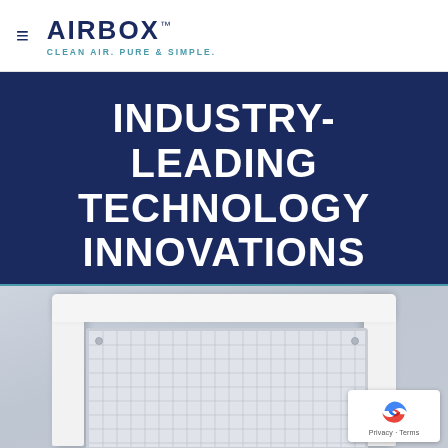AIRBOX™ — CLEAN AIR. PURE & SIMPLE.
INDUSTRY-LEADING TECHNOLOGY INNOVATIONS
[Figure (photo): White air vent / HVAC register showing a white frame with a grid filter, photographed against a white background from a slightly elevated perspective.]